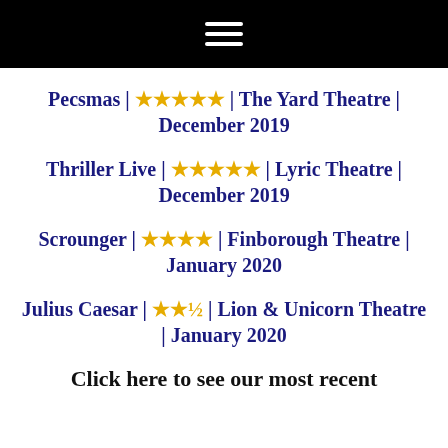[Figure (other): Black navigation header bar with white hamburger menu icon (three horizontal lines)]
Pecsmas | ★★★★★ | The Yard Theatre | December 2019
Thriller Live | ★★★★★ | Lyric Theatre | December 2019
Scrounger | ★★★★ | Finborough Theatre | January 2020
Julius Caesar | ★★½ | Lion & Unicorn Theatre | January 2020
Click here to see our most recent